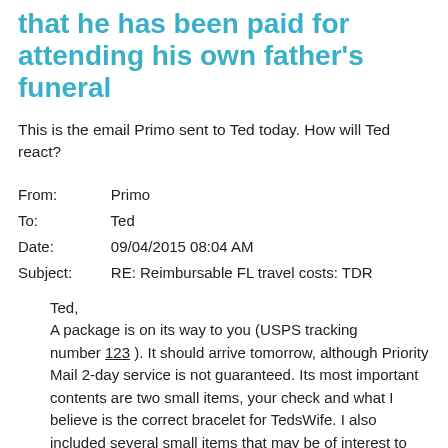that he has been paid for attending his own father's funeral
This is the email Primo sent to Ted today. How will Ted react?
From: Primo
To: Ted
Date: 09/04/2015 08:04 AM
Subject: RE: Reimbursable FL travel costs: TDR
Ted,
A package is on its way to you (USPS tracking number 123 ). It should arrive tomorrow, although Priority Mail 2-day service is not guaranteed. Its most important contents are two small items, your check and what I believe is the correct bracelet for TedsWife. I also included several small items that may be of interest to you, a couple of pictures, a